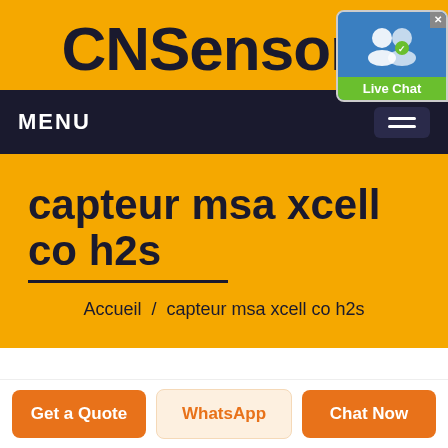CNSensors
[Figure (screenshot): Live Chat widget with people icon and green label]
MENU
capteur msa xcell co h2s
Accueil / capteur msa xcell co h2s
Get a Quote
WhatsApp
Chat Now